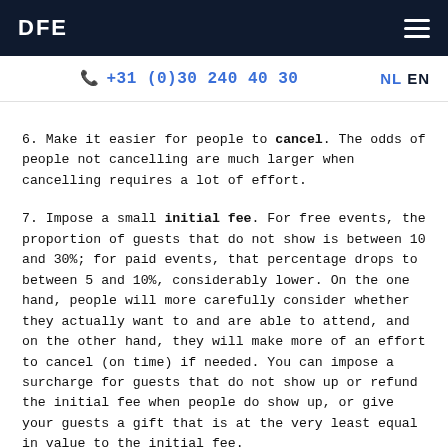DFE
+31 (0)30 240 40 30  NL EN
6. Make it easier for people to cancel. The odds of people not cancelling are much larger when cancelling requires a lot of effort.
7. Impose a small initial fee. For free events, the proportion of guests that do not show is between 10 and 30%; for paid events, that percentage drops to between 5 and 10%, considerably lower. On the one hand, people will more carefully consider whether they actually want to and are able to attend, and on the other hand, they will make more of an effort to cancel (on time) if needed. You can impose a surcharge for guests that do not show up or refund the initial fee when people do show up, or give your guests a gift that is at the very least equal in value to the initial fee.